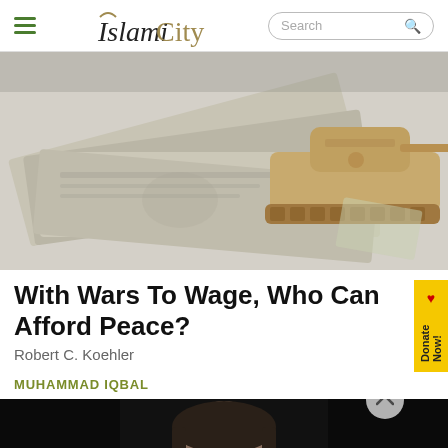IslamiCity
[Figure (photo): A toy military tank sitting on top of US dollar bills, photographed from a low angle.]
With Wars To Wage, Who Can Afford Peace?
Robert C. Koehler
MUHAMMAD IQBAL
[Figure (photo): Portrait photograph of Muhammad Iqbal against a dark background.]